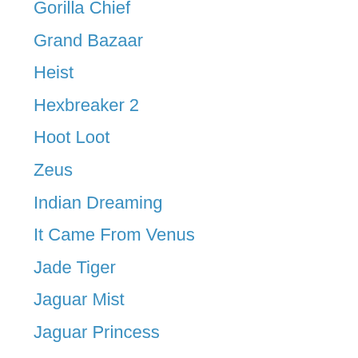Gorilla Chief
Grand Bazaar
Heist
Hexbreaker 2
Hoot Loot
Zeus
Indian Dreaming
It Came From Venus
Jade Tiger
Jaguar Mist
Jaguar Princess
Jeopardy
Jungle Monkeys
Jungle Wild
King Chameleon